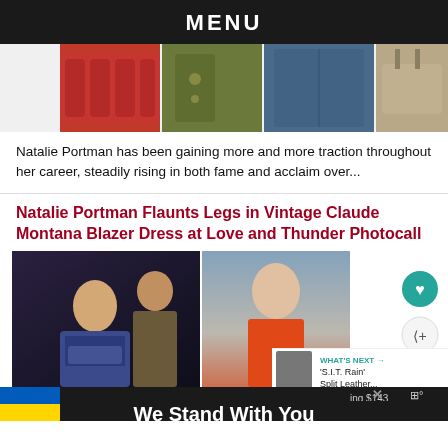MENU
[Figure (photo): Collage of fashion/clothing items: red puffer, olive jacket, blue denim jacket, tan bag]
Natalie Portman has been gaining more and more traction throughout her career, steadily rising in both fame and acclaim over...
Natalie Portman Flaunts Legs in Vintage Claude Montana Blazer Dress at Love and Thunder Photocall
[Figure (photo): Two-photo collage: left photo shows Natalie Portman in Thor: Love and Thunder armor costume with Chris Hemsworth; right photo shows Natalie Portman in orange top at photocall]
WHAT'S NEXT → 'S.I.T. Rain' Split Leather...
We Stand With You